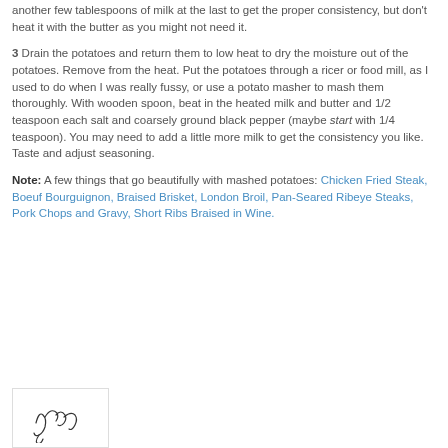another few tablespoons of milk at the last to get the proper consistency, but don't heat it with the butter as you might not need it.
3 Drain the potatoes and return them to low heat to dry the moisture out of the potatoes. Remove from the heat. Put the potatoes through a ricer or food mill, as I used to do when I was really fussy, or use a potato masher to mash them thoroughly. With wooden spoon, beat in the heated milk and butter and 1/2 teaspoon each salt and coarsely ground black pepper (maybe start with 1/4 teaspoon). You may need to add a little more milk to get the consistency you like. Taste and adjust seasoning.
Note: A few things that go beautifully with mashed potatoes: Chicken Fried Steak, Boeuf Bourguignon, Braised Brisket, London Broil, Pan-Seared Ribeye Steaks, Pork Chops and Gravy, Short Ribs Braised in Wine.
[Figure (illustration): Handwritten signature reading 'Jean' in cursive script inside a light-bordered box]